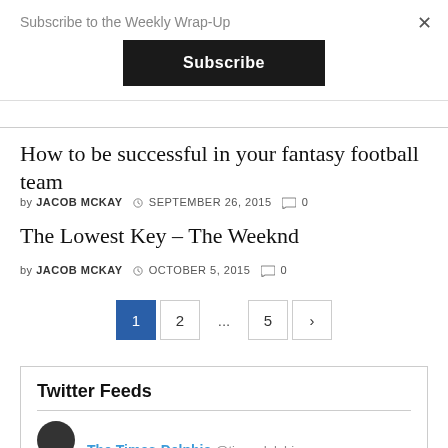Subscribe to the Weekly Wrap-Up
Subscribe
How to be successful in your fantasy football team
by JACOB MCKAY  SEPTEMBER 26, 2015  0
The Lowest Key – The Weeknd
by JACOB MCKAY  OCTOBER 5, 2015  0
1  2  ...  5  >
Twitter Feeds
The Times-Delphic @timesdelphic